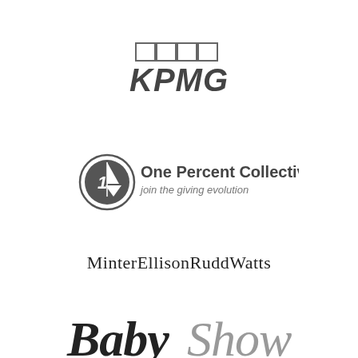[Figure (logo): KPMG logo with four squares above the bold italic text KPMG]
[Figure (logo): One Percent Collective logo with a circular emblem containing a sailboat and the text 'One Percent Collective' and tagline 'join the giving evolution']
[Figure (logo): MinterEllisonRuddWatts text logo in serif font]
[Figure (logo): Baby Show logo in large cursive/script font, 'Baby' in dark black and 'Show' in gray]